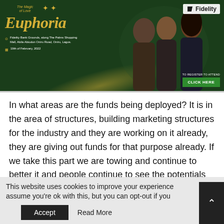[Figure (illustration): Fidelity Bank advertisement banner for 'The Magic of Love - Euphoria' event. Dark green background with three people (two men and one woman). Gold text showing 'Euphoria' in italic serif font. Location: Fidelity Bank Grounds, along The Palms Shopping Mall, Abila Abiodun Oniru Road, Oniru, Lagos. Date: 19th of February, 2022. Fidelity logo top right. Green 'CLICK HERE' button with 'TO REGISTER TO ATTEND' text above it. Gold sparkle decorations.]
In what areas are the funds being deployed? It is in the area of structures, building marketing structures for the industry and they are working on it already, they are giving out funds for that purpose already. If we take this part we are towing and continue to better it and people continue to see the potentials in the next two or three years I am sure that most Nigerians will be going to the cinemas to watch our films instead of films made in Hollywood.
This website uses cookies to improve your experience assume you're ok with this, but you can opt-out if you Accept Read More